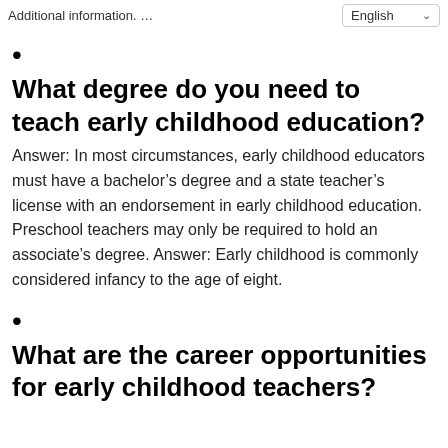Additional information. …
What degree do you need to teach early childhood education?
Answer: In most circumstances, early childhood educators must have a bachelor's degree and a state teacher's license with an endorsement in early childhood education. Preschool teachers may only be required to hold an associate's degree. Answer: Early childhood is commonly considered infancy to the age of eight.
What are the career opportunities for early childhood teachers?